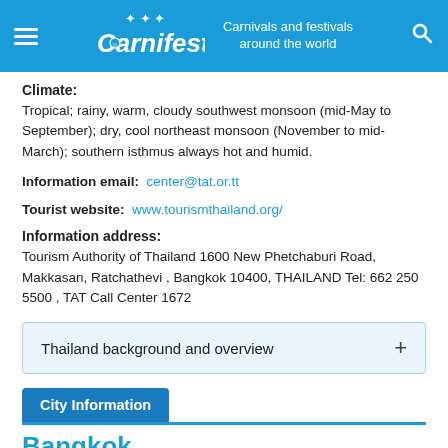Carnifest – Carnivals and festivals around the world
Climate:
Tropical; rainy, warm, cloudy southwest monsoon (mid-May to September); dry, cool northeast monsoon (November to mid-March); southern isthmus always hot and humid.
Information email: center@tat.or.tt
Tourist website: www.tourismthailand.org/
Information address:
Tourism Authority of Thailand 1600 New Phetchaburi Road, Makkasan, Ratchathevi , Bangkok 10400, THAILAND Tel: 662 250 5500 , TAT Call Center 1672
Thailand background and overview
City Information
Bangkok